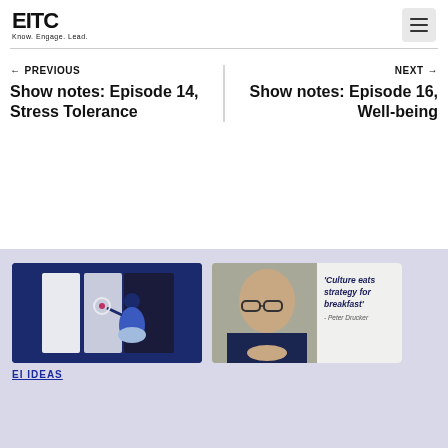[Figure (logo): EITC logo with text Know. Engage. Lead.]
← PREVIOUS
Show notes: Episode 14, Stress Tolerance
NEXT →
Show notes: Episode 16, Well-being
[Figure (illustration): EI IDEAS card with illustrated woman holding a mirror]
EI IDEAS
[Figure (photo): Peter Drucker quote image: 'Culture eats strategy for breakfast' - Peter Drucker]